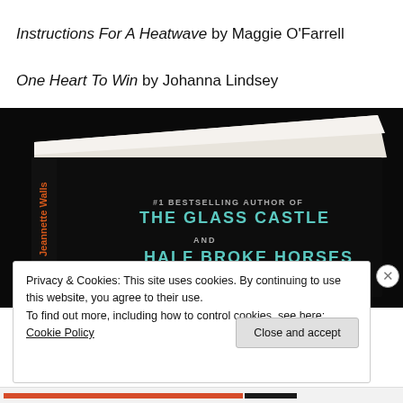Instructions For A Heatwave by Maggie O'Farrell
One Heart To Win by Johanna Lindsey
[Figure (photo): A black hardcover book photographed at an angle showing its spine and back cover. Text on the cover reads: '#1 BESTSELLING AUTHOR OF THE GLASS CASTLE AND HALF BROKE HORSES'. Orange lettering is visible on the spine. The book pages are fanned slightly at the top.]
Privacy & Cookies: This site uses cookies. By continuing to use this website, you agree to their use.
To find out more, including how to control cookies, see here: Cookie Policy
Close and accept